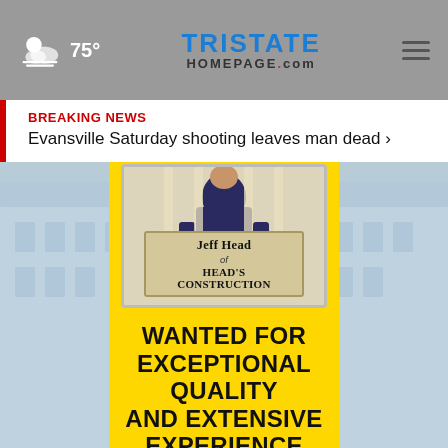75° TRISTATE HOMEPAGE.com
BREAKING NEWS
Evansville Saturday shooting leaves man dead ›
[Figure (photo): Advertisement image for Jeff Head of Head's Construction, showing a person behind bars holding a sign that reads 'Jeff Head of Head's Construction' on a yellow background with text: WANTED FOR EXCEPTIONAL QUALITY AND EXTENSIVE EXPERIENCE]